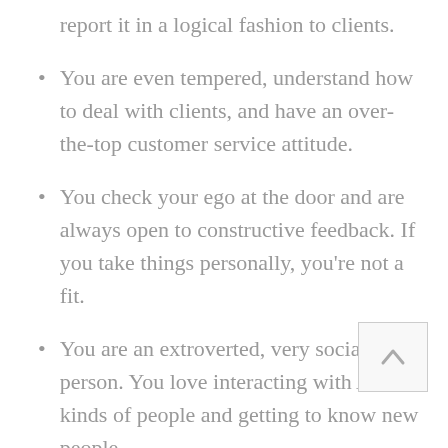report it in a logical fashion to clients.
You are even tempered, understand how to deal with clients, and have an over-the-top customer service attitude.
You check your ego at the door and are always open to constructive feedback. If you take things personally, you're not a fit.
You are an extroverted, very social person. You love interacting with ALL kinds of people and getting to know new people.
You are smart, creative, accountable, willing to go the extra mile, and really "get it". If you don't understand this bullet, you aren't a fit.